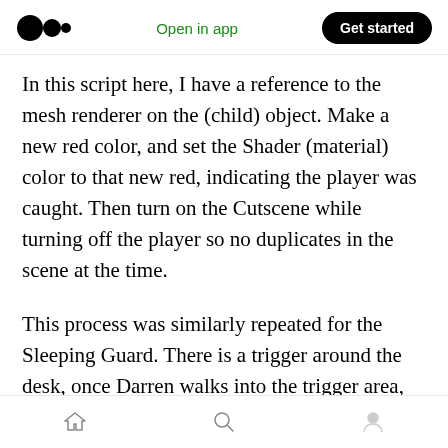Medium logo | Open in app | Get started
In this script here, I have a reference to the mesh renderer on the (child) object. Make a new red color, and set the Shader (material) color to that new red, indicating the player was caught. Then turn on the Cutscene while turning off the player so no duplicates in the scene at the time.
This process was similarly repeated for the Sleeping Guard. There is a trigger around the desk, once Darren walks into the trigger area, the sleeping guard cutscene plays.
That pretty much covers this update. The next
Home | Search | Profile